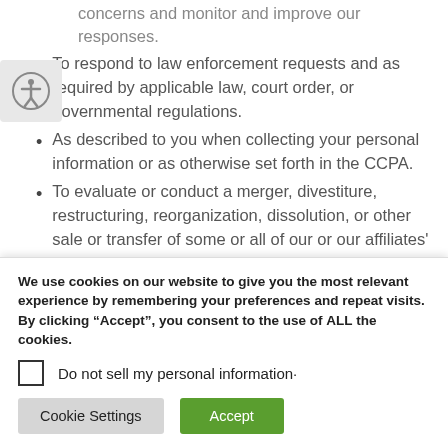To respond to law enforcement requests and as required by applicable law, court order, or governmental regulations.
As described to you when collecting your personal information or as otherwise set forth in the CCPA.
To evaluate or conduct a merger, divestiture, restructuring, reorganization, dissolution, or other sale or transfer of some or all of our or our affiliates' assets in which personal information held by us or
We use cookies on our website to give you the most relevant experience by remembering your preferences and repeat visits. By clicking “Accept”, you consent to the use of ALL the cookies.
Do not sell my personal information·
Cookie Settings
Accept